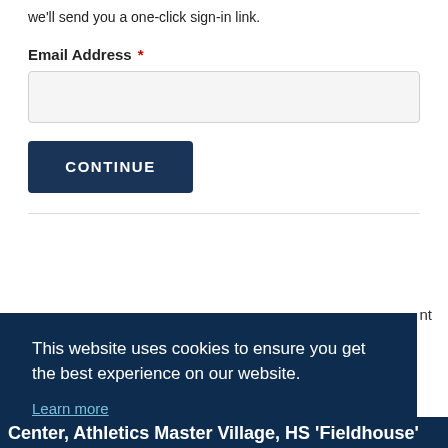we'll send you a one-click sign-in link.
Email Address *
CONTINUE
nt
This website uses cookies to ensure you get the best experience on our website.
Learn more
Got it!
Center, Athletics Master Village, HS 'Fieldhouse'